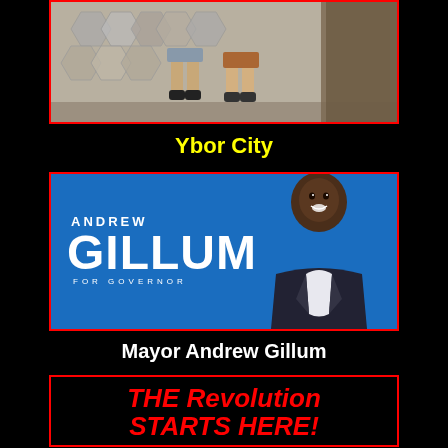[Figure (photo): Photo of children's feet/legs on hexagonal tile pavement in Ybor City]
Ybor City
[Figure (photo): Andrew Gillum for Governor campaign banner with blue background and photo of Andrew Gillum in a suit]
Mayor Andrew Gillum
[Figure (infographic): Black background with red bold italic text reading THE Revolution STARTS HERE! and Stogie logo at bottom]